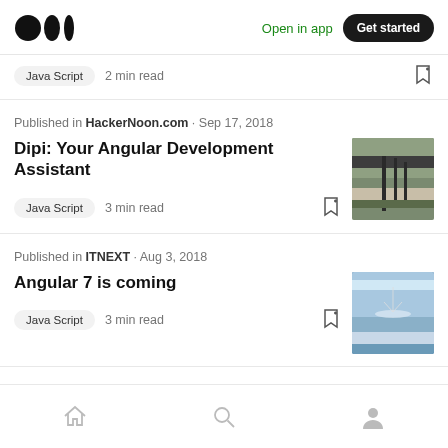Medium logo | Open in app | Get started
Java Script · 2 min read
Published in HackerNoon.com · Sep 17, 2018
Dipi: Your Angular Development Assistant
Java Script · 3 min read
Published in ITNEXT · Aug 3, 2018
Angular 7 is coming
Java Script · 3 min read
Home | Search | Profile